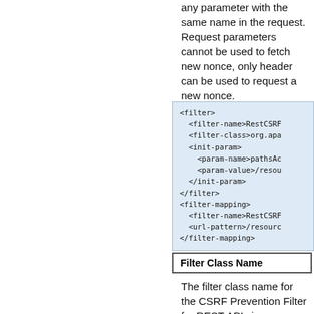any parameter with the same name in the request. Request parameters cannot be used to fetch new nonce, only header can be used to request a new nonce.
[Figure (screenshot): XML code block showing filter and filter-mapping configuration for RestCSRF, with light blue background]
Filter Class Name
The filter class name for the CSRF Prevention Filter for REST APIs is